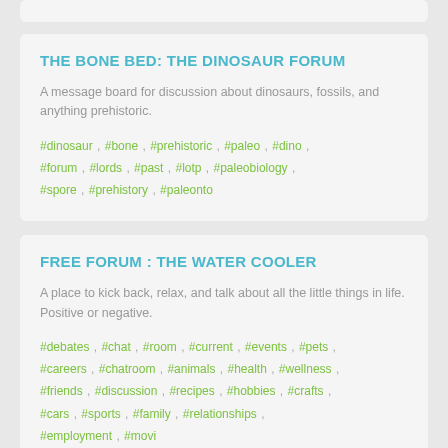THE BONE BED: THE DINOSAUR FORUM
A message board for discussion about dinosaurs, fossils, and anything prehistoric.
#dinosaur , #bone , #prehistoric , #paleo , #dino , #forum , #lords , #past , #lotp , #paleobiology , #spore , #prehistory , #paleonto
FREE FORUM : THE WATER COOLER
A place to kick back, relax, and talk about all the little things in life. Positive or negative.
#debates , #chat , #room , #current , #events , #pets , #careers , #chatroom , #animals , #health , #wellness , #friends , #discussion , #recipes , #hobbies , #crafts , #cars , #sports , #family , #relationships , #employment , #movi